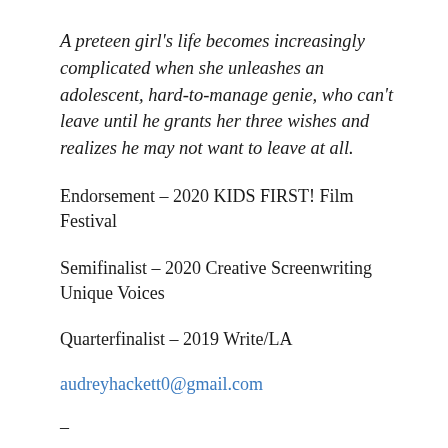A preteen girl's life becomes increasingly complicated when she unleashes an adolescent, hard-to-manage genie, who can't leave until he grants her three wishes and realizes he may not want to leave at all.
Endorsement – 2020 KIDS FIRST! Film Festival
Semifinalist – 2020 Creative Screenwriting Unique Voices
Quarterfinalist – 2019 Write/LA
audreyhackett0@gmail.com
–
LOST SUMMER